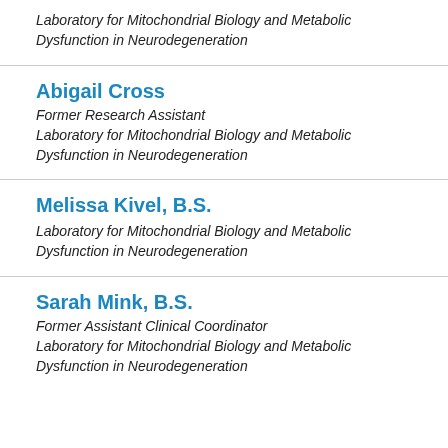Laboratory for Mitochondrial Biology and Metabolic Dysfunction in Neurodegeneration
Abigail Cross
Former Research Assistant
Laboratory for Mitochondrial Biology and Metabolic Dysfunction in Neurodegeneration
Melissa Kivel, B.S.
Laboratory for Mitochondrial Biology and Metabolic Dysfunction in Neurodegeneration
Sarah Mink, B.S.
Former Assistant Clinical Coordinator
Laboratory for Mitochondrial Biology and Metabolic Dysfunction in Neurodegeneration